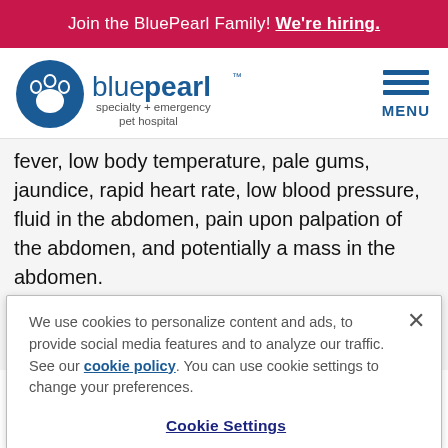Join the BluePearl Family! We're hiring.
[Figure (logo): BluePearl specialty + emergency pet hospital logo with paw print icon]
fever, low body temperature, pale gums, jaundice, rapid heart rate, low blood pressure, fluid in the abdomen, pain upon palpation of the abdomen, and potentially a mass in the abdomen.
The diagnosis of peritonitis is based on clinical findings
We use cookies to personalize content and ads, to provide social media features and to analyze our traffic. See our cookie policy. You can use cookie settings to change your preferences.
Cookie Settings